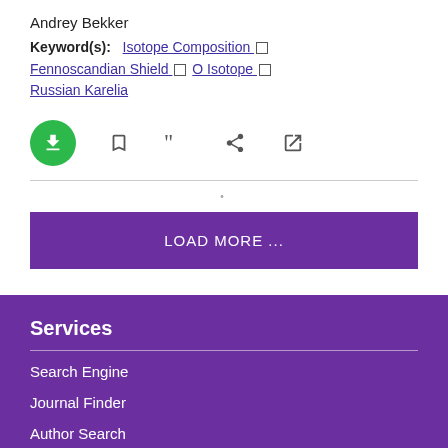Andrey Bekker
Keyword(s): Isotope Composition □ Fennoscandian Shield □ O Isotope □ Russian Karelia
[Figure (other): Action icons: download (green circle with arrow), bookmark, quote, share, external link]
LOAD MORE ...
Services
Search Engine
Journal Finder
Author Search